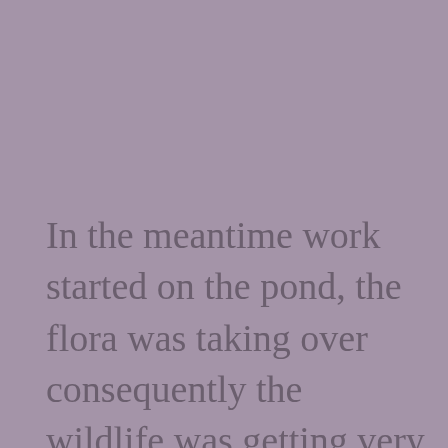In the meantime work started on the pond, the flora was taking over consequently the wildlife was getting very pushed out ! Water hyacinth was our enemy